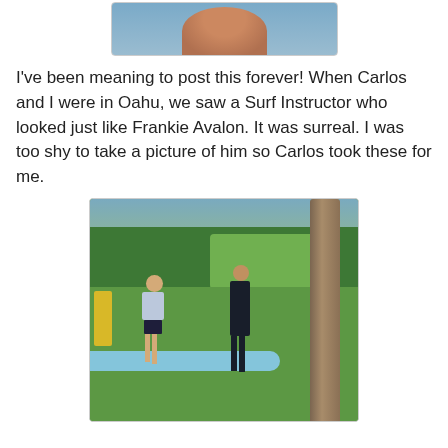[Figure (photo): Partial top image of a person, cropped — only bottom portion visible, with blue background. Appears to be a partial photo from a blog post.]
I've been meaning to post this forever! When Carlos and I were in Oahu, we saw a Surf Instructor who looked just like Frankie Avalon. It was surreal. I was too shy to take a picture of him so Carlos took these for me.
[Figure (photo): Outdoor photo showing a surf instructor in a dark wetsuit standing on grass facing a female student in a light blue long-sleeve top and dark bikini bottom who is standing on a blue surfboard. A large palm tree trunk is visible on the right. Tropical greenery and trees visible in background.]